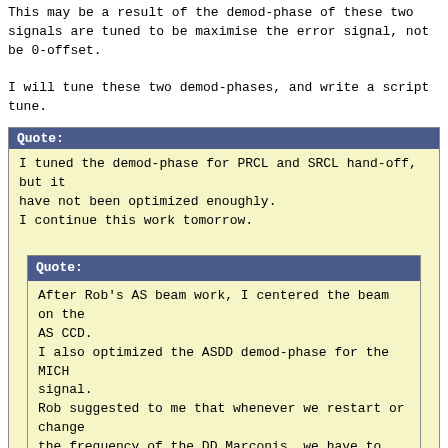This may be a result of the demod-phase of these two signals are tuned to be maximise the error signal, not be 0-offset.

I will tune these two demod-phases, and write a script tune.
Quote: I tuned the demod-phase for PRCL and SRCL hand-off, but it have not been optimized enough.
I continue this work tomorrow.
Quote: After Rob's AS beam work, I centered the beam on the AS CCD.
I also optimized the ASDD demod-phase for the MICH signal.
Rob suggested to me that whenever we restart or change the frequency of the DD Marconis, we have to re-optimize the demod-phase
because the initial phase of the Marconi is random. We had the power failure, so it was time to do so.
I confirmed that MICH hand-off from REFL33Q to AS133DDQ is ok.
I will do the same thing for the PRCL, SRCL hand-offs.